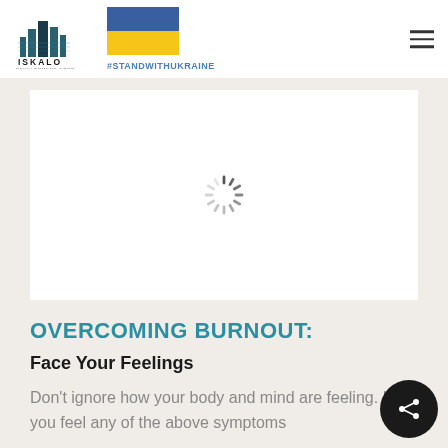Iskalo Development Corp | #STANDWITHUKRAINE
[Figure (screenshot): Loading spinner (circular spinner icon) on white background, indicating an image is loading]
OVERCOMING BURNOUT:
Face Your Feelings
Don't ignore how your body and mind are feeling. If you feel any of the above symptoms